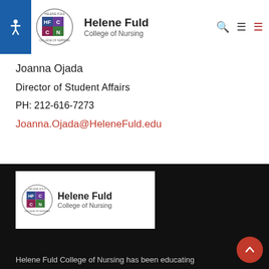[Figure (logo): Helene Fuld College of Nursing logo with circular badge showing HF CN letters and college name text]
Joanna Ojada
Director of Student Affairs
PH: 212-616-7273
Joanna.Ojada@HeleneFuld.edu
[Figure (logo): Helene Fuld College of Nursing logo in white footer box]
Helene Fuld College of Nursing has been educating